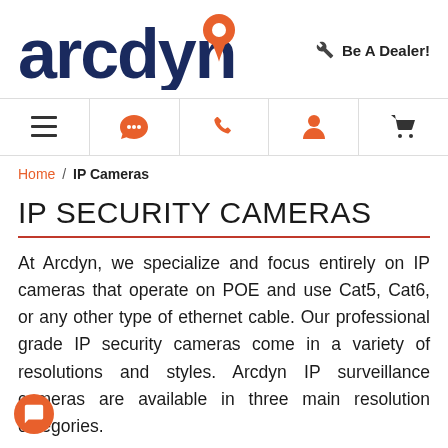[Figure (logo): Arcdyn logo with dark navy text and orange location pin icon]
🔧 Be A Dealer!
[Figure (infographic): Navigation bar with 5 icons: hamburger menu, chat bubble (orange), phone (orange), user profile (orange), shopping cart]
Home / IP Cameras
IP SECURITY CAMERAS
At Arcdyn, we specialize and focus entirely on IP cameras that operate on POE and use Cat5, Cat6, or any other type of ethernet cable. Our professional grade IP security cameras come in a variety of resolutions and styles. Arcdyn IP surveillance cameras are available in three main resolution categories.